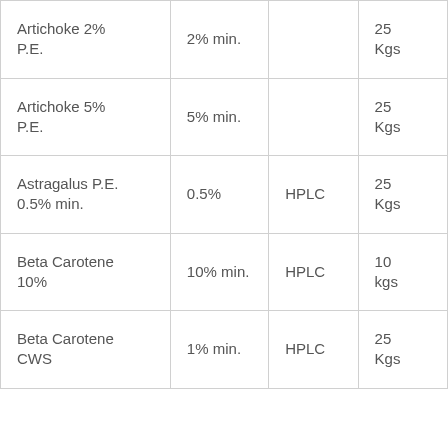| Artichoke 2% P.E. | 2% min. |  | 25 Kgs |
| Artichoke 5% P.E. | 5% min. |  | 25 Kgs |
| Astragalus P.E. 0.5% min. | 0.5% | HPLC | 25 Kgs |
| Beta Carotene 10% | 10% min. | HPLC | 10 kgs |
| Beta Carotene CWS | 1% min. | HPLC | 25 Kgs |